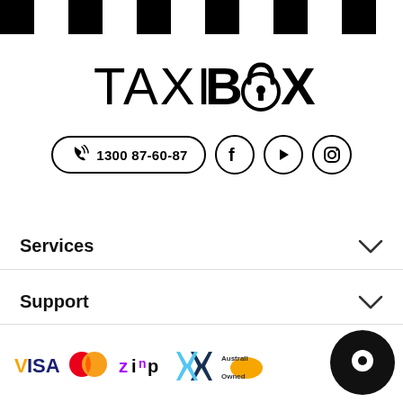[Figure (logo): Checkerboard black and white bar at the top of the page]
[Figure (logo): TAXIBOX logo with a padlock replacing the letter O in BOX]
[Figure (infographic): Phone number 1300 87-60-87 in a pill-shaped border with phone icon, followed by Facebook, YouTube, and Instagram circular social media icons]
Services
Support
[Figure (infographic): Footer with payment logos: VISA, Mastercard, Zip, an X-shaped logo, Australian Owned badge, and a black circular chat bubble icon]